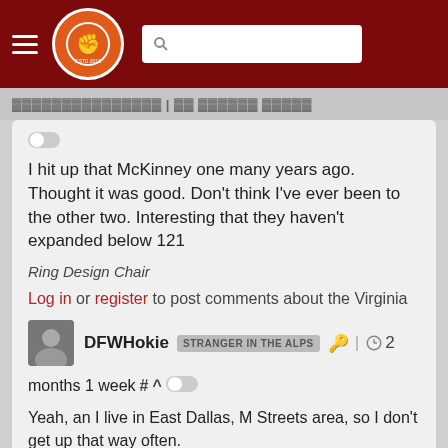[Figure (screenshot): Website navigation bar with hamburger menu, The Key Play circular logo (fist icon), and search box on dark red background]
[username and timestamp - partially visible, cut off]
I hit up that McKinney one many years ago. Thought it was good. Don't think I've ever been to the other two. Interesting that they haven't expanded below 121
Ring Design Chair
Log in or register to post comments about the Virginia Tech Hokies
DFWHokie STRANGER IN THE ALPS 🔑 | 2 months 1 week # ^
Yeah, an I live in East Dallas, M Streets area, so I don't get up that way often.